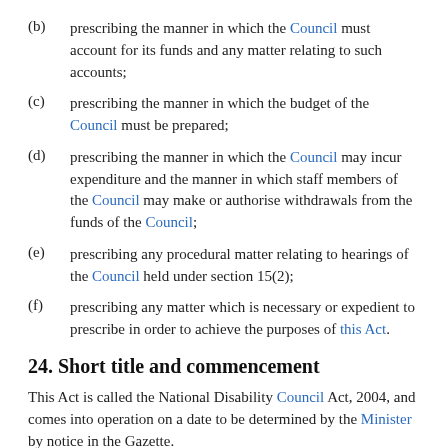(b) prescribing the manner in which the Council must account for its funds and any matter relating to such accounts;
(c) prescribing the manner in which the budget of the Council must be prepared;
(d) prescribing the manner in which the Council may incur expenditure and the manner in which staff members of the Council may make or authorise withdrawals from the funds of the Council;
(e) prescribing any procedural matter relating to hearings of the Council held under section 15(2);
(f) prescribing any matter which is necessary or expedient to prescribe in order to achieve the purposes of this Act.
24. Short title and commencement
This Act is called the National Disability Council Act, 2004, and comes into operation on a date to be determined by the Minister by notice in the Gazette.